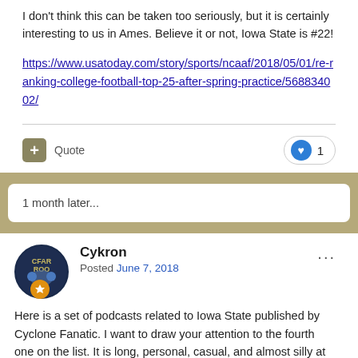I don't think this can be taken too seriously, but it is certainly interesting to us in Ames.  Believe it or not, Iowa State is #22!
https://www.usatoday.com/story/sports/ncaaf/2018/05/01/re-ranking-college-football-top-25-after-spring-practice/568834002/
Quote
1 month later...
Cykron
Posted June 7, 2018
Here is a set of podcasts related to Iowa State published by Cyclone Fanatic.  I want to draw your attention to the fourth one on the list.  It is long, personal, casual, and almost silly at times